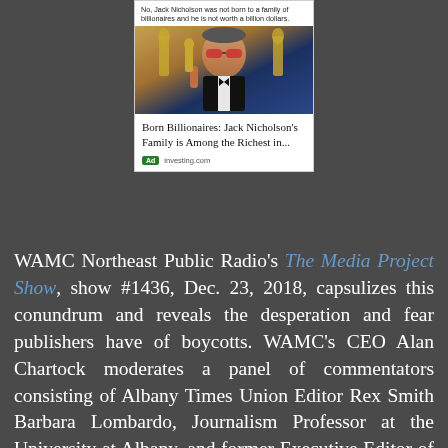[Figure (screenshot): A clickbait advertisement showing Jack Nicholson holding an Oscar award with red sunglasses and tuxedo. Above the image is a fact-check label reading 'No, Jack Nicholson was not born to a family of billionaires and he is not worth a billion dollars.' Below shows title 'Born Billionaires: Jack Nicholson's Family is Among the Richest in...' with an 'Ad' badge and 'investing.com' source.]
WAMC Northeast Public Radio's The Media Project Show, show #1436, Dec. 23, 2018, capsulizes this conundrum and reveals the desperation and fear publishers have of boycotts. WAMC's CEO Alan Chartock moderates a panel of commentators consisting of Albany Times Union Editor Rex Smith Barbara Lombardo, Journalism Professor at the University at Albany, and former Executive Editor of The Saratogian and The (Troy) Record and Daily Freeman Publisher Emeritus Ira Fusfeld tackle the topic of advertiser boycotts of Tucker Carlson's show following negative comments about immigration. Smith and Fusfeld